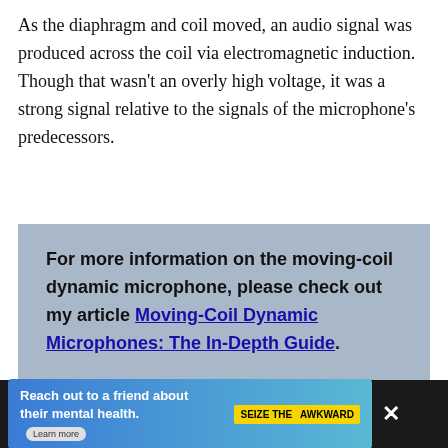As the diaphragm and coil moved, an audio signal was produced across the coil via electromagnetic induction. Though that wasn't an overly high voltage, it was a strong signal relative to the signals of the microphone's predecessors.
For more information on the moving-coil dynamic microphone, please check out my article Moving-Coil Dynamic Microphones: The In-Depth Guide.
[Figure (other): Advertisement banner: 'Reach out to a friend about their mental health. Learn more' with 'SEIZE THE AWKWARD' badge]